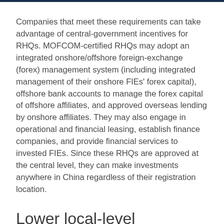Companies that meet these requirements can take advantage of central-government incentives for RHQs. MOFCOM-certified RHQs may adopt an integrated onshore/offshore foreign-exchange (forex) management system (including integrated management of their onshore FIEs' forex capital), offshore bank accounts to manage the forex capital of offshore affiliates, and approved overseas lending by onshore affiliates. They may also engage in operational and financial leasing, establish finance companies, and provide financial services to invested FIEs. Since these RHQs are approved at the central level, they can make investments anywhere in China regardless of their registration location.
Lower local-level thresholds
All FIICs approved by MOFCOM are eligible for RHQ